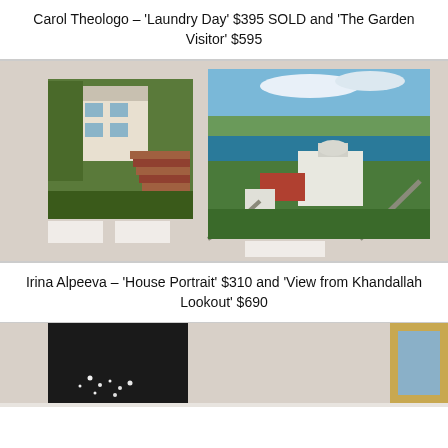Carol Theologo – 'Laundry Day' $395 SOLD and 'The Garden Visitor' $595
[Figure (photo): Gallery wall with two paintings by Irina Alpeeva: 'House Portrait' on the left showing a house with garden stairs, and 'View from Khandallah Lookout' on the right showing an aerial view of a coastal hilltop with a building]
Irina Alpeeva – 'House Portrait' $310 and 'View from Khandallah Lookout' $690
[Figure (photo): Gallery wall with two paintings partially visible at bottom of page: a dark painting on the left and a framed painting on the right]